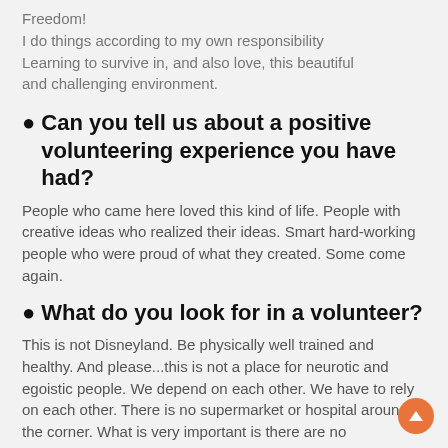Freedom!
I do things according to my own responsibility
Learning to survive in, and also love, this beautiful and challenging environment.
• Can you tell us about a positive volunteering experience you have had?
People who came here loved this kind of life. People with creative ideas who realized their ideas. Smart hard-working people who were proud of what they created. Some come again.
• What do you look for in a volunteer?
This is not Disneyland. Be physically well trained and healthy. And please...this is not a place for neurotic and egoistic people. We depend on each other. We have to rely on each other. There is no supermarket or hospital around the corner. What is very important is there are no problems...just challenges. And solutions...